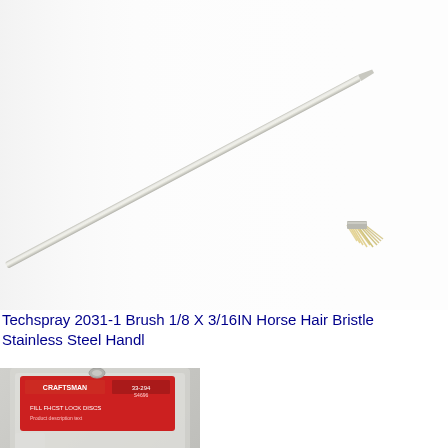[Figure (photo): A long thin stainless steel handle brush with horse hair bristles at one end, photographed against a white/light background. The brush handle is metallic silver and the bristles are light tan/cream colored at the tip.]
Techspray 2031-1 Brush 1/8 X 3/16IN Horse Hair Bristle Stainless Steel Handl
[Figure (photo): A Craftsman branded product package containing flat circular discs (appears to be sanding discs or similar), packaged in a red and silver blister pack with a Craftsman label.]